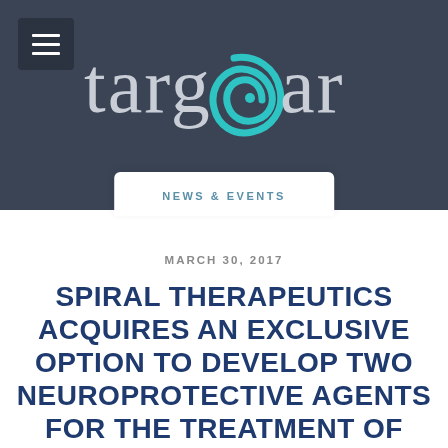[Figure (logo): Targear logo with teal spiral replacing the letter 'e', displayed on a dark slate background]
NEWS & EVENTS
MARCH 30, 2017
SPIRAL THERAPEUTICS ACQUIRES AN EXCLUSIVE OPTION TO DEVELOP TWO NEUROPROTECTIVE AGENTS FOR THE TREATMENT OF INNER EAR DISORDERS